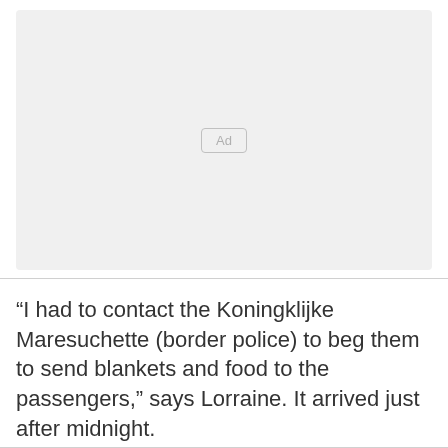[Figure (other): Advertisement placeholder box with light gray background and 'Ad' label in center]
“I had to contact the Koningklijke Maresuchette (border police) to beg them to send blankets and food to the passengers,” says Lorraine. It arrived just after midnight.